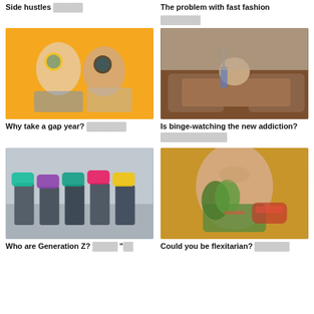Side hustles ██████
The problem with fast fashion ████████
[Figure (photo): Two young women taking a selfie, one with yellow sunglasses giving peace sign, one with blue sunglasses, both smiling, orange/yellow background]
[Figure (photo): Person sitting on a large red suitcase, appears to be falling or leaning back, brown leather couch in background, patterned wallpaper]
Why take a gap year? ████████
Is binge-watching the new addiction? ██"██"████████
[Figure (photo): Group of five young people standing against a concrete wall, each holding colorful speech bubble cutouts (cyan, purple, teal, pink, yellow)]
[Figure (photo): Young woman with red lips holding fresh green herbs and a burger, wearing teal top, warm golden background]
Who are Generation Z? █████ "██
Could you be flexitarian? ███████